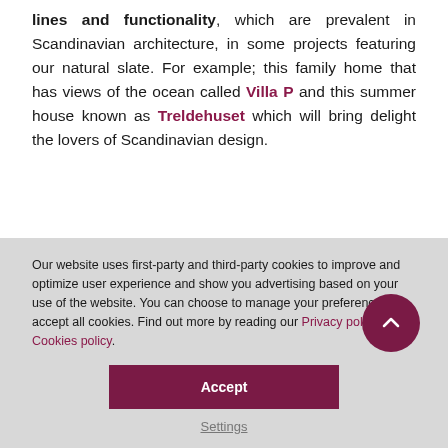lines and functionality, which are prevalent in Scandinavian architecture, in some projects featuring our natural slate. For example; this family home that has views of the ocean called Villa P and this summer house known as Treldehuset which will bring delight the lovers of Scandinavian design.
Our website uses first-party and third-party cookies to improve and optimize user experience and show you advertising based on your use of the website. You can choose to manage your preferences or accept all cookies. Find out more by reading our Privacy policy and Cookies policy.
Accept
Settings